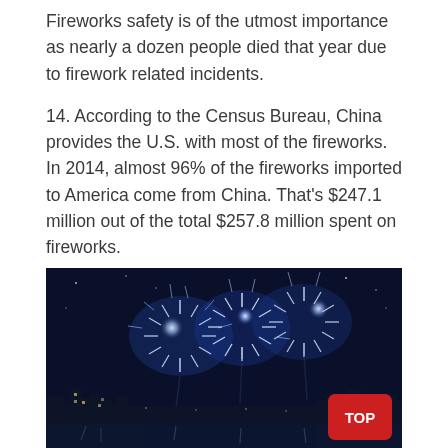Fireworks safety is of the utmost importance as nearly a dozen people died that year due to firework related incidents.
14. According to the Census Bureau, China provides the U.S. with most of the fireworks. In 2014, almost 96% of the fireworks imported to America come from China. That's $247.1 million out of the total $257.8 million spent on fireworks.
15. Let's take this on the road! Nearly 42 Million people travel at least 50 miles on the Fourth.
[Figure (photo): Nighttime fireworks display over a city skyline with large white and blue firework bursts against a dark sky, with city lights reflected in water below. A red 'TOP' button overlay is visible in the lower right.]